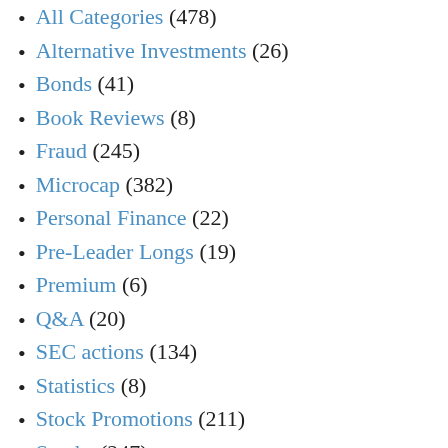All Categories (478)
Alternative Investments (26)
Bonds (41)
Book Reviews (8)
Fraud (245)
Microcap (382)
Personal Finance (22)
Pre-Leader Longs (19)
Premium (6)
Q&A (20)
SEC actions (134)
Statistics (8)
Stock Promotions (211)
Stocks (247)
Supernova (34)
Trade Recap (192)
Trader Money Management (6)